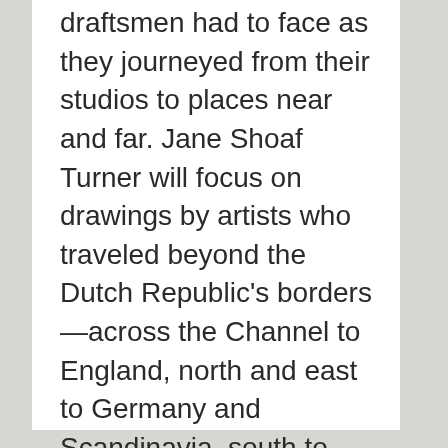draftsmen had to face as they journeyed from their studios to places near and far. Jane Shoaf Turner will focus on drawings by artists who traveled beyond the Dutch Republic's borders—across the Channel to England, north and east to Germany and Scandinavia, south to France, over the Alps to Italy, and across the Atlantic to Brazil.
...